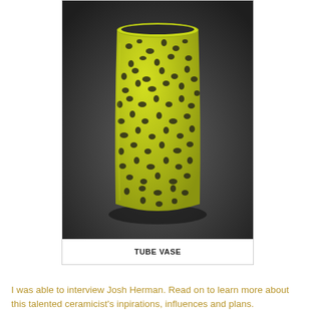[Figure (photo): A ceramic tube vase with yellow-green glaze covered in dark brown/black irregular spots giving a textured lava or animal-print appearance. The vase is cylindrical, photographed against a dark grey gradient background.]
TUBE VASE
I was able to interview Josh Herman. Read on to learn more about this talented ceramicist's inpirations, influences and plans.